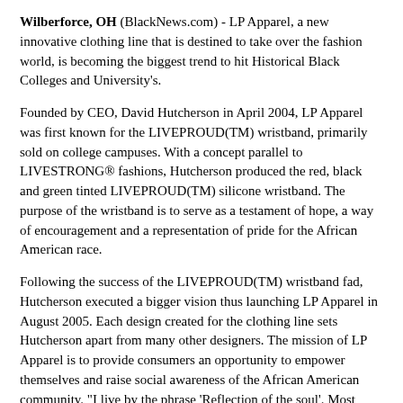Wilberforce, OH (BlackNews.com) - LP Apparel, a new innovative clothing line that is destined to take over the fashion world, is becoming the biggest trend to hit Historical Black Colleges and University's.
Founded by CEO, David Hutcherson in April 2004, LP Apparel was first known for the LIVEPROUD(TM) wristband, primarily sold on college campuses. With a concept parallel to LIVESTRONG® fashions, Hutcherson produced the red, black and green tinted LIVEPROUD(TM) silicone wristband. The purpose of the wristband is to serve as a testament of hope, a way of encouragement and a representation of pride for the African American race.
Following the success of the LIVEPROUD(TM) wristband fad, Hutcherson executed a bigger vision thus launching LP Apparel in August 2005. Each design created for the clothing line sets Hutcherson apart from many other designers. The mission of LP Apparel is to provide consumers an opportunity to empower themselves and raise social awareness of the African American community. "I live by the phrase 'Reflection of the soul'. Most people do not know the meaning behind the attire they wear or the symbols they display on their clothes. I decided to promote and create a clothing line that has a positive meaning for African Americans and serve as an exhibit of our history and unity," said Hutcherson.